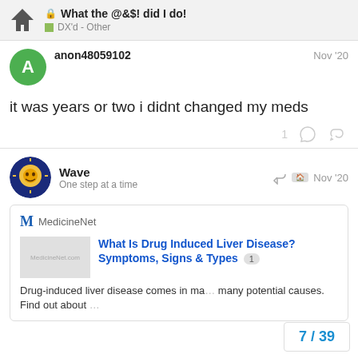What the @&$! did I do! | DX'd - Other
anon48059102 — Nov '20
it was years or two i didnt changed my meds
Wave — One step at a time — Nov '20
[Figure (screenshot): Embedded MedicineNet article card with title 'What Is Drug Induced Liver Disease? Symptoms, Signs & Types' and description 'Drug-induced liver disease comes in many potential causes. Find out about']
7 / 39